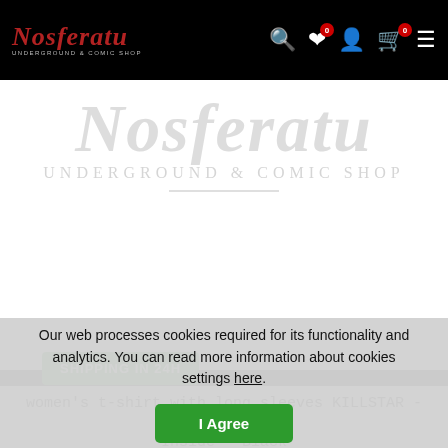Nosferatu Underground & Comic Shop — navigation header with search, wishlist (0), account, cart (0), and menu icons
[Figure (logo): Nosferatu Underground & Comic Shop logo watermark on white product image background]
SHIPPING IN 24H
women's t-shirt with long sleeves KILLSTAR - Darkness Inside - Black
Our web processes cookies required for its functionality and analytics. You can read more information about cookies settings here.
I Agree